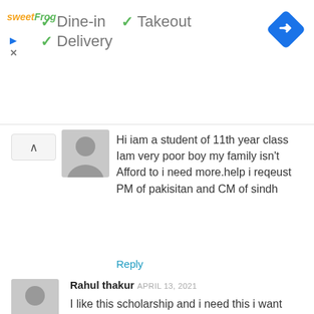[Figure (screenshot): Ad banner showing sweetFrog logo with checkmarks for Dine-in, Takeout, Delivery options and a blue navigation diamond icon]
Hi iam a student of 11th year class Iam very poor boy my family isn't Afford to i need more.help i reqeust PM of pakisitan and CM of sindh
Reply
Rahul thakur APRIL 13, 2021
I like this scholarship and i need this i want studied forword and shine our country pakistan please help me for this problem and now i studied in first year
Reply